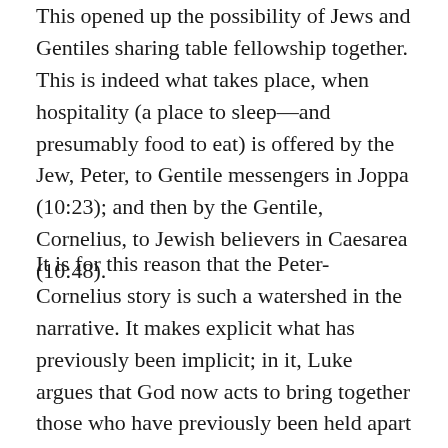This opened up the possibility of Jews and Gentiles sharing table fellowship together. This is indeed what takes place, when hospitality (a place to sleep—and presumably food to eat) is offered by the Jew, Peter, to Gentile messengers in Joppa (10:23); and then by the Gentile, Cornelius, to Jewish believers in Caesarea (10:48).
It is for this reason that the Peter-Cornelius story is such a watershed in the narrative. It makes explicit what has previously been implicit; in it, Luke argues that God now acts to bring together those who have previously been held apart by divinely-sanctioned laws. In the light of this incident, then, the table fellowship enjoyed by Jesus in Luke's Gospel takes on an added significance. See